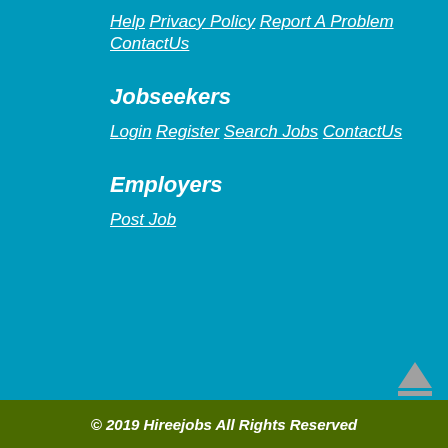Help
Privacy Policy
Report A Problem
ContactUs
Jobseekers
Login
Register
Search Jobs
ContactUs
Employers
Post Job
© 2019 Hireejobs All Rights Reserved